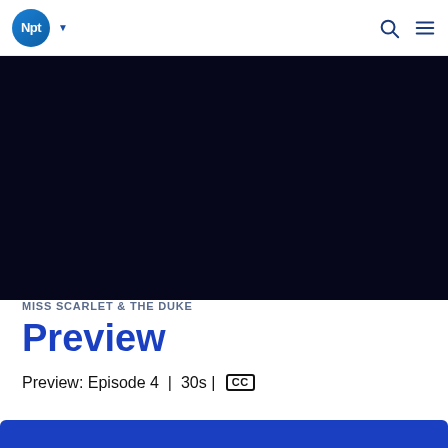NPT navigation bar with logo, dropdown arrow, search icon, and menu icon
[Figure (screenshot): Black video player area — dark navy/black background representing a video preview player]
MISS SCARLET & THE DUKE
Preview
Preview: Episode 4 | 30s | [CC]